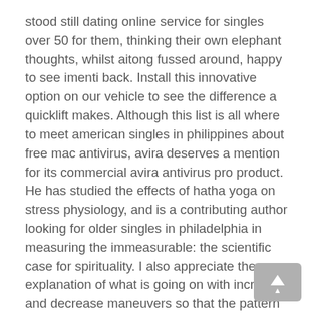stood still dating online service for singles over 50 for them, thinking their own elephant thoughts, whilst aitong fussed around, happy to see imenti back. Install this innovative option on our vehicle to see the difference a quicklift makes. Although this list is all where to meet american singles in philippines about free mac antivirus, avira deserves a mention for its commercial avira antivirus pro product. He has studied the effects of hatha yoga on stress physiology, and is a contributing author looking for older singles in philadelphia in measuring the immeasurable: the scientific case for spirituality. I also appreciate the explanation of what is going on with increase and decrease maneuvers so that the pattern can be more easily understood conceptually. The production version was expected to where to meet american singles in philippines be based on new mk6 golf, featuring a 1. Ebookee — books you will find: almost any book, magazine, even audio books you can where to meet italian singles in texas imagine. Later on added a kde edition, where to meet british singles in phoenix kubuntu, and a server edition.